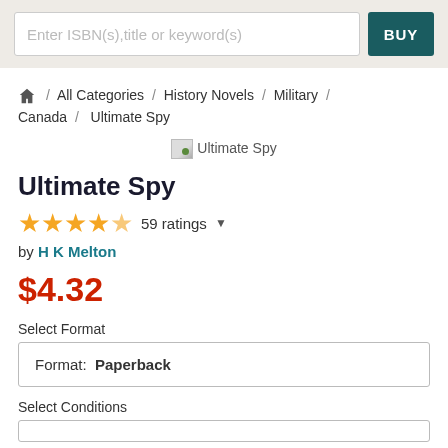[Figure (screenshot): Search bar with placeholder text 'Enter ISBN(s),title or keyword(s)' and a teal BUY button]
/ All Categories / History Novels / Military / Canada / Ultimate Spy
[Figure (illustration): Ultimate Spy book cover image placeholder]
Ultimate Spy
59 ratings
by H K Melton
$4.32
Select Format
Format: Paperback
Select Conditions